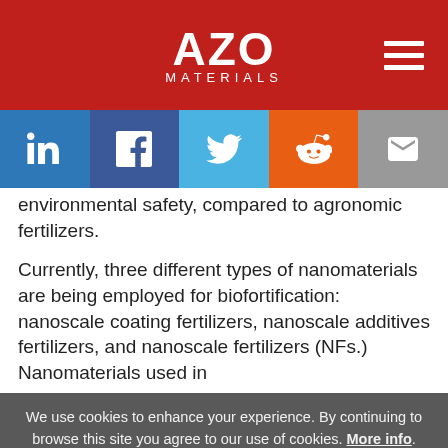[Figure (logo): AZO Materials logo on red background with hamburger menu icon]
[Figure (infographic): Social sharing bar with LinkedIn, Facebook, Twitter, Reddit, and Email icons]
environmental safety, compared to agronomic fertilizers.
Currently, three different types of nanomaterials are being employed for biofortification: nanoscale coating fertilizers, nanoscale additives fertilizers, and nanoscale fertilizers (NFs.) Nanomaterials used in
We use cookies to enhance your experience. By continuing to browse this site you agree to our use of cookies. More info.
✔ Accept   Cookie Settings